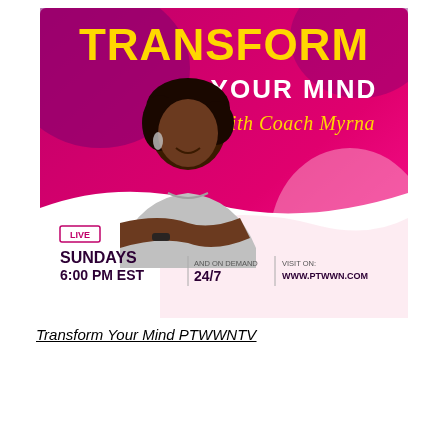[Figure (infographic): Promotional banner for 'Transform Your Mind with Coach Myrna' TV show. Magenta/pink gradient background with purple accent shapes. Bold yellow text 'TRANSFORM' at top, white text 'YOUR MIND' below, gold italic script 'with Coach Myrna'. A Black woman with arms crossed wearing a silver top is shown. Bottom section on white/pink wave shape shows: red-outlined box 'LIVE', bold dark text 'SUNDAYS 6:00 PM EST', dividers, 'AND ON DEMAND 24/7', 'VISIT ON: WWW.PTWWN.COM'.]
Transform Your Mind PTWWNTV